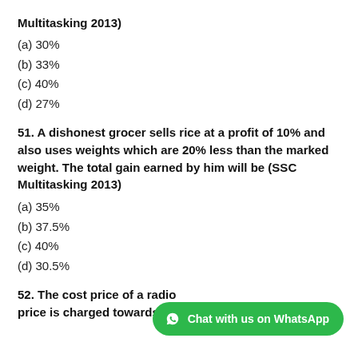Multitasking 2013)
(a) 30%
(b) 33%
(c) 40%
(d) 27%
51. A dishonest grocer sells rice at a profit of 10% and also uses weights which are 20% less than the marked weight. The total gain earned by him will be (SSC Multitasking 2013)
(a) 35%
(b) 37.5%
(c) 40%
(d) 30.5%
52. The cost price of a radio is Rs 600. 5% of the cost price is charged towards transportation. After adding